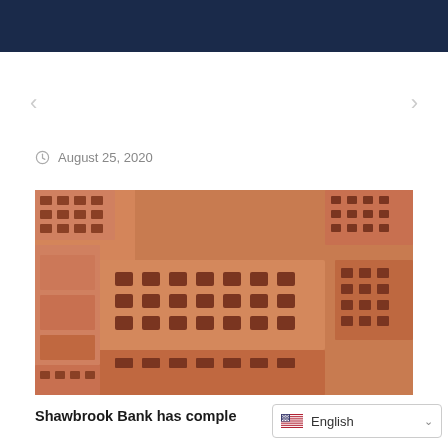< (previous)
> (next)
August 25, 2020
[Figure (photo): Close-up photograph of stacked red/terracotta perforated construction bricks]
Shawbrook Bank has comple